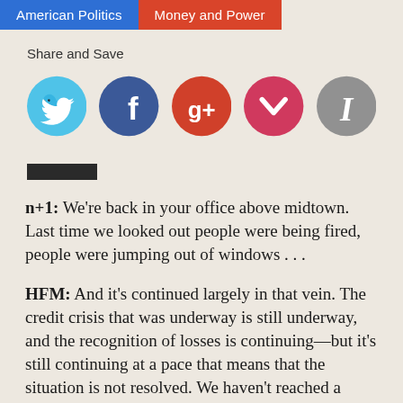American Politics | Money and Power
Share and Save
[Figure (infographic): Row of five social media share icons: Twitter (blue bird), Facebook (dark blue f), Google+ (red g+), Pocket (red chevron/check), Instapaper (grey I)]
[Figure (other): Black horizontal divider bar]
n+1: We're back in your office above midtown. Last time we looked out people were being fired, people were jumping out of windows . . .
HFM: And it's continued largely in that vein. The credit crisis that was underway is still underway, and the recognition of losses is continuing—but it's still continuing at a pace that means that the situation is not resolved. We haven't reached a point